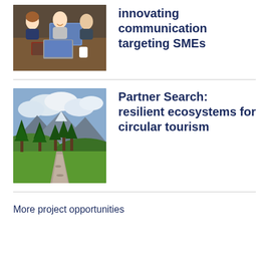[Figure (photo): Three people sitting around a table with laptops, smiling and collaborating in a meeting setting.]
Innovating communication targeting SMEs
[Figure (photo): Mountain landscape with green meadows, trees, a gravel path, and cloudy sky.]
Partner Search: resilient ecosystems for circular tourism
More project opportunities